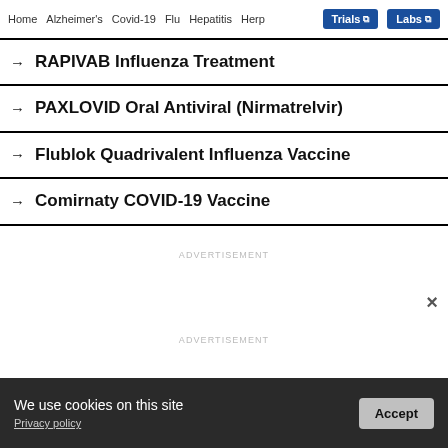Home | Alzheimer's | Covid-19 | Flu | Hepatitis | Her... | Trials | Labs
→ RAPIVAB Influenza Treatment
→ PAXLOVID Oral Antiviral (Nirmatrelvir)
→ Flublok Quadrivalent Influenza Vaccine
→ Comirnaty COVID-19 Vaccine
ADVERTISEMENT
ADVERTISEMENT
We use cookies on this site
Privacy policy
Accept